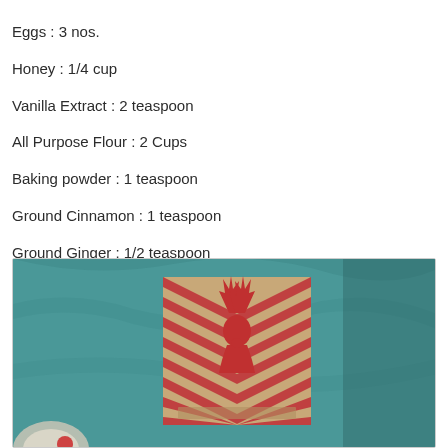Eggs : 3 nos.
Honey : 1/4 cup
Vanilla Extract : 2 teaspoon
All Purpose Flour : 2 Cups
Baking powder : 1 teaspoon
Ground Cinnamon : 1 teaspoon
Ground Ginger : 1/2 teaspoon
Ground Nutmeg : 1/2 teaspoon
Ground Cloves : 1/2 teaspoon
Salt : 1/4 teaspoon
Chopped Nuts : 1 cup
(I used cashews, almonds, pecans  each 1/3 cup)
[Figure (photo): A teal/turquoise fabric background with a chevron-patterned square patch (red and tan zigzag pattern) featuring a red deer head silhouette in the center. A partial circular object is visible at the bottom left.]